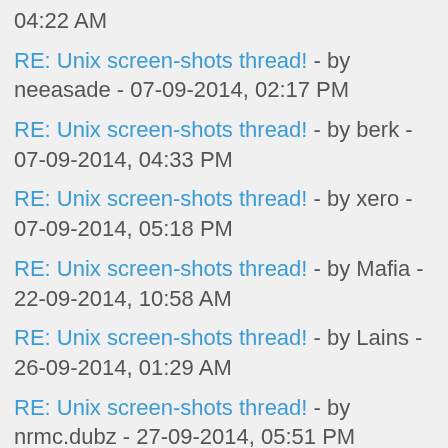04:22 AM
RE: Unix screen-shots thread! - by neeasade - 07-09-2014, 02:17 PM
RE: Unix screen-shots thread! - by berk - 07-09-2014, 04:33 PM
RE: Unix screen-shots thread! - by xero - 07-09-2014, 05:18 PM
RE: Unix screen-shots thread! - by Mafia - 22-09-2014, 10:58 AM
RE: Unix screen-shots thread! - by Lains - 26-09-2014, 01:29 AM
RE: Unix screen-shots thread! - by nrmc.dubz - 27-09-2014, 05:51 PM
RE: Unix screen-shots thread! - by Mafia - 28-09-2014, 07:34 AM
RE: Unix screen-shots thread! - by pvtmert - 28-09-2014, 11:58 AM
RE: Unix screen-shots thread! - by stephant - 28-09-2014, 03:57 PM
RE: Unix screen-shots thread! - by Mafia - 28-09-2014, 05:18 PM